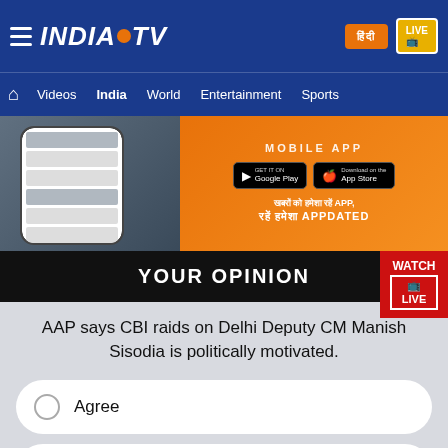INDIA TV — Videos | India | World | Entertainment | Sports
[Figure (screenshot): India TV mobile app advertisement banner with Google Play and App Store download buttons on orange background, with phone mockup on left]
YOUR OPINION
AAP says CBI raids on Delhi Deputy CM Manish Sisodia is politically motivated.
Agree
Disagree
Can't say